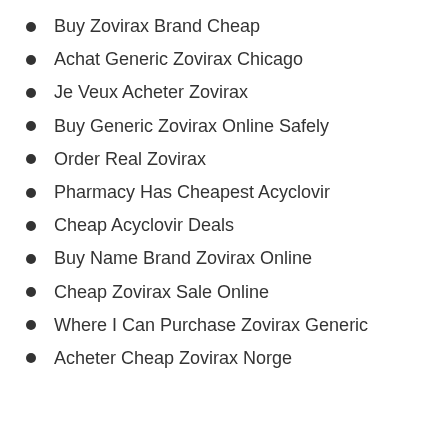Buy Zovirax Brand Cheap
Achat Generic Zovirax Chicago
Je Veux Acheter Zovirax
Buy Generic Zovirax Online Safely
Order Real Zovirax
Pharmacy Has Cheapest Acyclovir
Cheap Acyclovir Deals
Buy Name Brand Zovirax Online
Cheap Zovirax Sale Online
Where I Can Purchase Zovirax Generic
Acheter Cheap Zovirax Norge